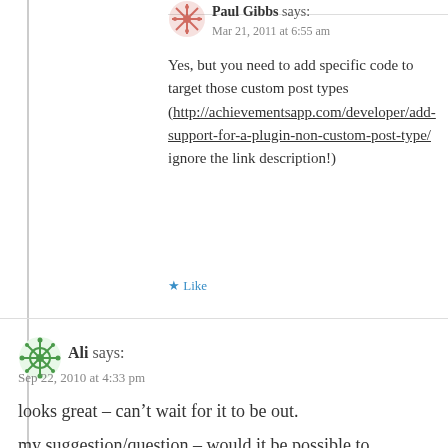Paul Gibbs says:
Mar 21, 2011 at 6:55 am
Yes, but you need to add specific code to target those custom post types (http://achievementsapp.com/developer/add-support-for-a-plugin-non-custom-post-type/ ignore the link description!)
★ Like
Ali says:
Sep 22, 2010 at 4:33 pm
looks great – can't wait for it to be out.
my suggestion/question – would it be possible to